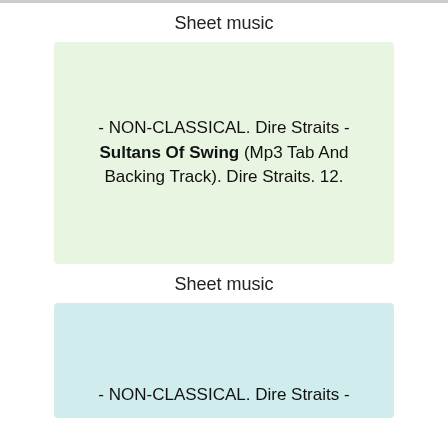Sheet music
- NON-CLASSICAL. Dire Straits - Sultans Of Swing (Mp3 Tab And Backing Track). Dire Straits. 12.
Sheet music
- NON-CLASSICAL. Dire Straits -